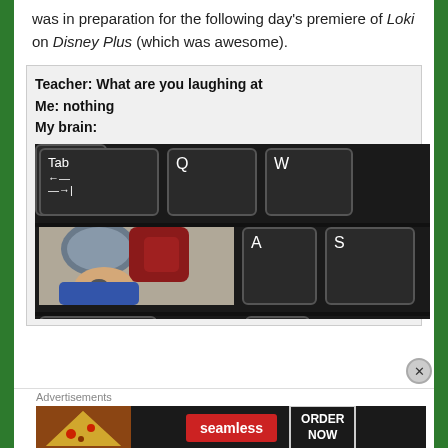was in preparation for the following day's premiere of Loki on Disney Plus (which was awesome).
[Figure (illustration): A meme image showing keyboard keys (Tab, Q, W, A, S, Shift, Z) with a Marvel movie fight scene photo inserted into the Tab key position. Text above reads: Teacher: What are you laughing at / Me: nothing / My brain:]
Advertisements
[Figure (screenshot): Seamless food delivery advertisement banner with pizza image, Seamless logo in red, and ORDER NOW button]